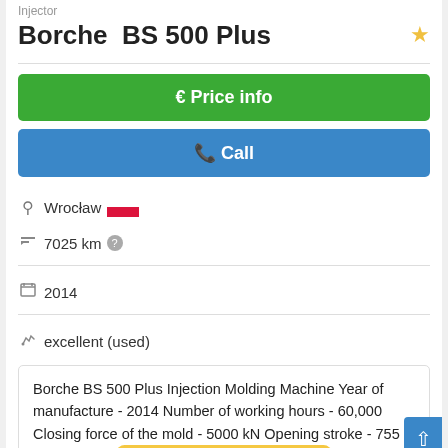Injector
Borche BS 500 Plus
€ Price info
✆ Call
Wrocław  🇵🇱
7025 km ?
2014
excellent (used)
Borche BS 500 Plus Injection Molding Machine Year of manufacture - 2014 Number of working hours - 60,000 Closing force of the mold - 5000 kN Opening stroke - 755 mm Plate dimensions - 1175 X 1145 m...
Save search query